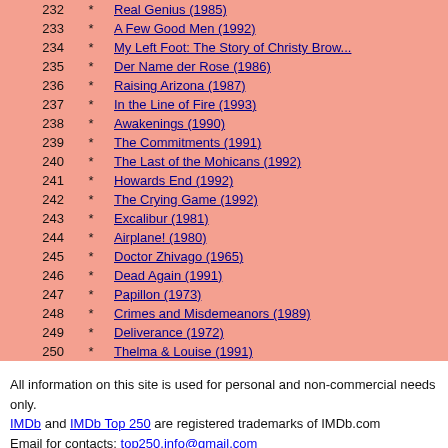| # |  | Title |
| --- | --- | --- |
| 232 | * | Real Genius (1985) |
| 233 | * | A Few Good Men (1992) |
| 234 | * | My Left Foot: The Story of Christy Brown |
| 235 | * | Der Name der Rose (1986) |
| 236 | * | Raising Arizona (1987) |
| 237 | * | In the Line of Fire (1993) |
| 238 | * | Awakenings (1990) |
| 239 | * | The Commitments (1991) |
| 240 | * | The Last of the Mohicans (1992) |
| 241 | * | Howards End (1992) |
| 242 | * | The Crying Game (1992) |
| 243 | * | Excalibur (1981) |
| 244 | * | Airplane! (1980) |
| 245 | * | Doctor Zhivago (1965) |
| 246 | * | Dead Again (1991) |
| 247 | * | Papillon (1973) |
| 248 | * | Crimes and Misdemeanors (1989) |
| 249 | * | Deliverance (1972) |
| 250 | * | Thelma & Louise (1991) |
All information on this site is used for personal and non-commercial needs only. IMDb and IMDb Top 250 are registered trademarks of IMDb.com Email for contacts: top250.info@gmail.com